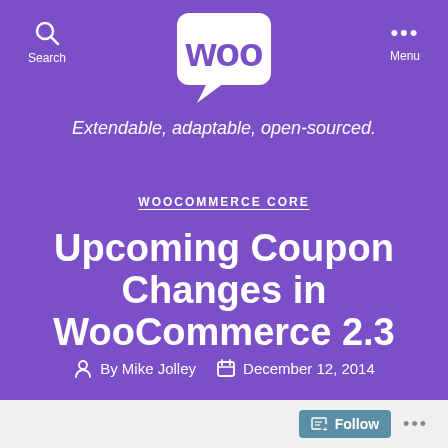[Figure (logo): WooCommerce logo — white speech bubble with 'Woo' text in rounded letters]
Search  Menu
Extendable, adaptable, open-sourced.
WOOCOMMERCE CORE
Upcoming Coupon Changes in WooCommerce 2.3
By Mike Jolley   December 12, 2014